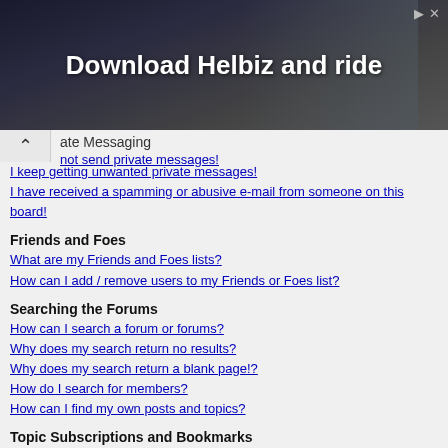[Figure (photo): Advertisement banner: 'Download Helbiz and ride' with dark background showing a person with camera equipment]
ate Messaging
not send private messages!
I keep getting unwanted private messages!
I have received a spamming or abusive e-mail from someone on this board!
Friends and Foes
What are my Friends and Foes lists?
How can I add / remove users to my Friends or Foes list?
Searching the Forums
How can I search a forum or forums?
Why does my search return no results?
Why does my search return a blank page!?
How do I search for members?
How can I find my own posts and topics?
Topic Subscriptions and Bookmarks
What is the difference between bookmarking and subscribing?
How do I subscribe to specific forums or topics?
How do I remove my subscriptions?
Attachments
What attachments are allowed on this board?
How do I find all my attachments?
phpBB 3 Issues
Who wrote this bulletin board?
Why isn't X feature available?